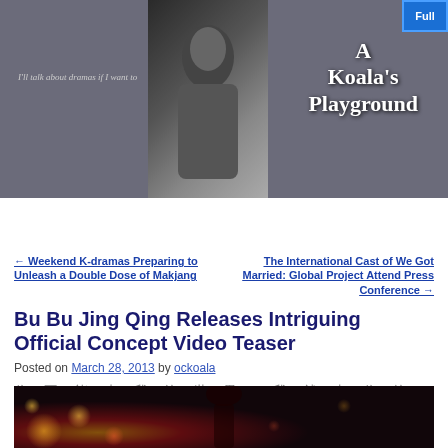A Koala's Playground — I'll talk about dramas if I want to
Home | Menu ↓
← Weekend K-dramas Preparing to Unleash a Double Dose of Makjang
The International Cast of We Got Married: Global Project Attend Press Conference →
Bu Bu Jing Qing Releases Intriguing Official Concept Video Teaser
Posted on March 28, 2013 by ockoala
你不能来我的世界，我就去你的世界找你
[Figure (photo): Close-up photo of a woman with dark hair against a bokeh background with warm orange and red light spots]